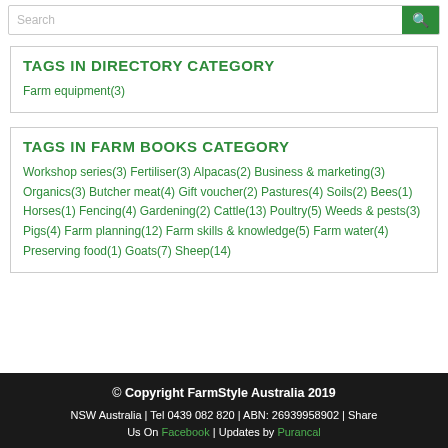TAGS IN DIRECTORY CATEGORY
Farm equipment(3)
TAGS IN FARM BOOKS CATEGORY
Workshop series(3) Fertiliser(3) Alpacas(2) Business & marketing(3) Organics(3) Butcher meat(4) Gift voucher(2) Pastures(4) Soils(2) Bees(1) Horses(1) Fencing(4) Gardening(2) Cattle(13) Poultry(5) Weeds & pests(3) Pigs(4) Farm planning(12) Farm skills & knowledge(5) Farm water(4) Preserving food(1) Goats(7) Sheep(14)
© Copyright FarmStyle Australia 2019 NSW Australia | Tel 0439 082 820 | ABN: 26939958902 | Share Us On Facebook | Updates by Purancal